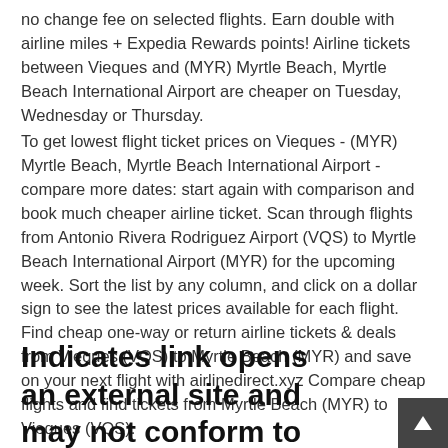no change fee on selected flights. Earn double with airline miles + Expedia Rewards points! Airline tickets between Vieques and (MYR) Myrtle Beach, Myrtle Beach International Airport are cheaper on Tuesday, Wednesday or Thursday.
To get lowest flight ticket prices on Vieques - (MYR) Myrtle Beach, Myrtle Beach International Airport - compare more dates: start again with comparison and book much cheaper airline ticket. Scan through flights from Antonio Rivera Rodriguez Airport (VQS) to Myrtle Beach International Airport (MYR) for the upcoming week. Sort the list by any column, and click on a dollar sign to see the latest prices available for each flight. Find cheap one-way or return airline tickets & deals from Vieques (VQS) to Myrtle Beach (MYR) and save on your next flight with airlinedirect.xyz Compare cheap flights and find tickets from Myrtle Beach (MYR) to Vieques (VQS).
Indicates link opens an external site and may not conform to the same accessibility policies as